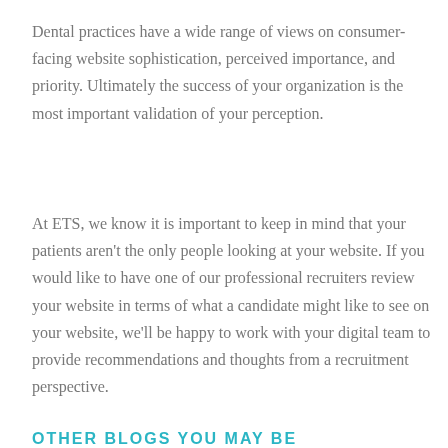Dental practices have a wide range of views on consumer-facing website sophistication, perceived importance, and priority. Ultimately the success of your organization is the most important validation of your perception.
At ETS, we know it is important to keep in mind that your patients aren't the only people looking at your website. If you would like to have one of our professional recruiters review your website in terms of what a candidate might like to see on your website, we'll be happy to work with your digital team to provide recommendations and thoughts from a recruitment perspective.
OTHER BLOGS YOU MAY BE